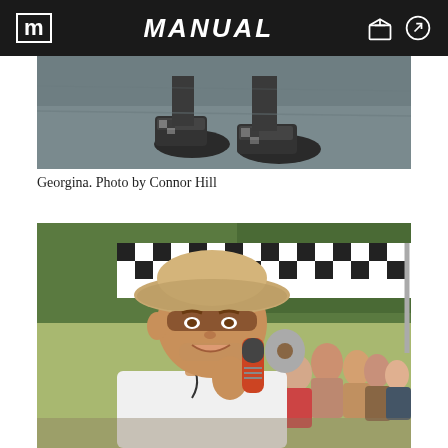MANUAL
[Figure (photo): Overhead/ground-level photo showing feet and skateboard shoes (Vans) on a concrete surface, cropped at the top of the visible area]
Georgina. Photo by Connor Hill
[Figure (photo): Man wearing a tan wide-brim hat and white t-shirt speaking into a microphone with a red cap on it, at an outdoor skateboarding event with a black-and-white checkered tent canopy visible in the background and a crowd of spectators]